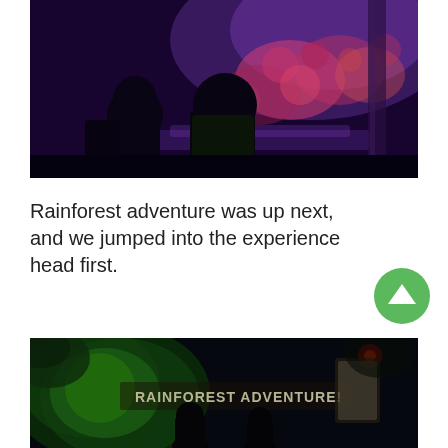[Figure (photo): Children silhouetted against a large illuminated aquarium tank showing colorful coral reef under purple/blue lighting]
Rainforest adventure was up next, and we jumped into the experience head first.
[Figure (photo): Dark rainforest adventure entrance with green jungle lighting, sign reading 'RAINFOREST ADVENTURE!' and silhouettes of visitors]